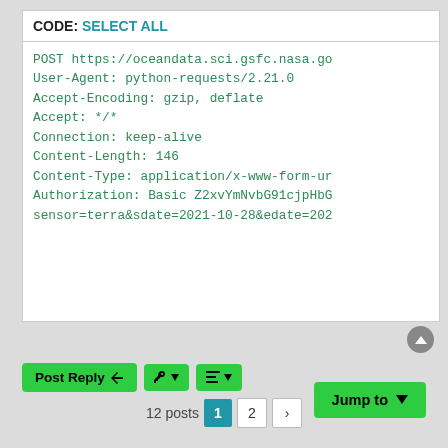[Figure (screenshot): Code block showing HTTP POST request headers including URL, User-Agent, Accept-Encoding, Accept, Connection, Content-Length, Content-Type, Authorization, and sensor parameters for NASA oceandata API, with 'CODE: SELECT ALL' header bar above the code.]
Post Reply | tool icon | sort icon
12 posts  1  2  >
Jump to ▾